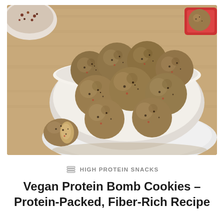[Figure (photo): A white bowl filled with round vegan protein bomb cookies/energy balls made from a grainy, speckled dough, piled high. One ball is broken in half showing a dense interior, placed on a white plate in the foreground. Background shows bowls of ingredients on a wooden surface.]
HIGH PROTEIN SNACKS
Vegan Protein Bomb Cookies – Protein-Packed, Fiber-Rich Recipe